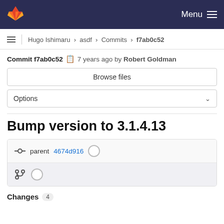Menu
Hugo Ishimaru > asdf > Commits > f7ab0c52
Commit f7ab0c52  7 years ago by Robert Goldman
Browse files
Options
Bump version to 3.1.4.13
parent 4674d916
Changes 4